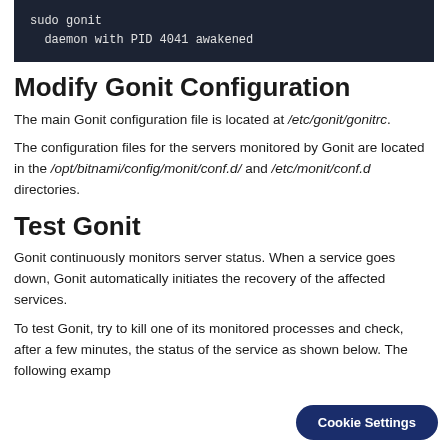[Figure (screenshot): Terminal/code block showing: sudo gonit / daemon with PID 4041 awakened]
Modify Gonit Configuration
The main Gonit configuration file is located at /etc/gonit/gonitrc.
The configuration files for the servers monitored by Gonit are located in the /opt/bitnami/config/monit/conf.d/ and /etc/monit/conf.d directories.
Test Gonit
Gonit continuously monitors server status. When a service goes down, Gonit automatically initiates the recovery of the affected services.
To test Gonit, try to kill one of its monitored processes and check, after a few minutes, the status of the service as shown below. The following examp